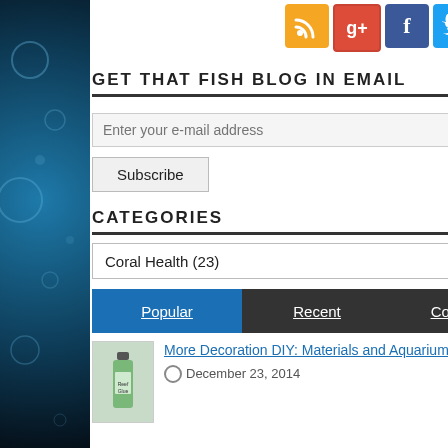[Figure (other): Social media icon buttons: RSS (orange), Google+ (red), Facebook (blue), Twitter (light blue), Pinterest (red), YouTube (red)]
GET THAT FISH BLOG IN EMAIL
Enter your e-mail address
Subscribe
CATEGORIES
Coral Health  (23)
Popular | Recent | Comments
[Figure (photo): Thumbnail image of a bottle of reef glue/adhesive product]
More Decoration DIY: Materials and Aquarium Suitability
December 23, 2014